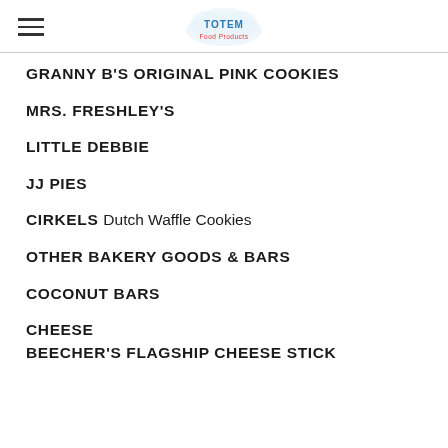TOTEM Food Products
GRANNY B'S ORIGINAL PINK COOKIES
MRS. FRESHLEY'S
LITTLE DEBBIE
JJ PIES
CIRKELS Dutch Waffle Cookies
OTHER BAKERY GOODS & BARS
COCONUT BARS
CHEESE
BEECHER'S FLAGSHIP CHEESE STICK